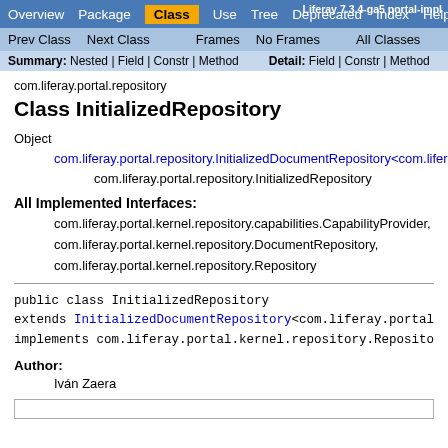Overview  Package  Class  Use  Tree  Deprecated  Index  Help | Liferay 7.3.4-ga5 portal-impl
Prev Class  Next Class  Frames  No Frames  All Classes
Summary: Nested | Field | Constr | Method   Detail: Field | Constr | Method
com.liferay.portal.repository
Class InitializedRepository
Object
  com.liferay.portal.repository.InitializedDocumentRepository<com.liferay.po...
    com.liferay.portal.repository.InitializedRepository
All Implemented Interfaces:
com.liferay.portal.kernel.repository.capabilities.CapabilityProvider,
com.liferay.portal.kernel.repository.DocumentRepository,
com.liferay.portal.kernel.repository.Repository
public class InitializedRepository
extends InitializedDocumentRepository<com.liferay.portal...
implements com.liferay.portal.kernel.repository.Reposito...
Author:
Iván Zaera